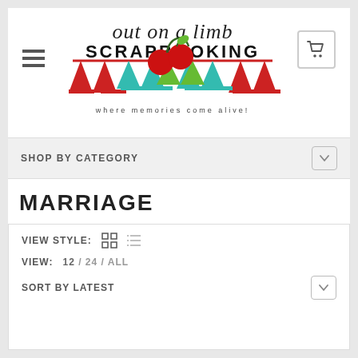[Figure (logo): Out on a Limb Scrapbooking logo with bunting banner decoration and text 'where memories come alive!']
SHOP BY CATEGORY
MARRIAGE
VIEW STYLE: [grid icon] [list icon]
VIEW: 12 / 24 / ALL
SORT BY LATEST